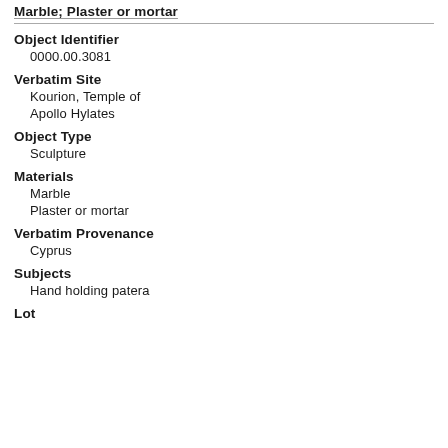Sculpture Fragment, Hand with patera; Marble; Plaster or mortar
Object Identifier
0000.00.3081
Verbatim Site
Kourion, Temple of Apollo Hylates
Object Type
Sculpture
Materials
Marble
Plaster or mortar
Verbatim Provenance
Cyprus
Subjects
Hand holding patera
Lot